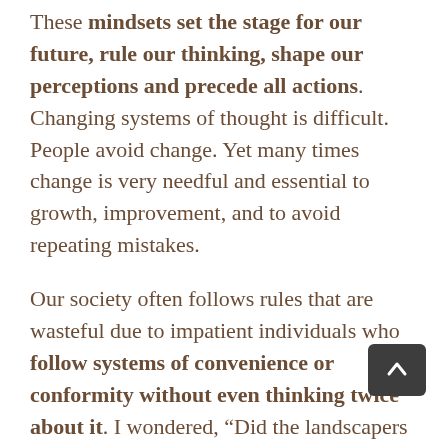These mindsets set the stage for our future, rule our thinking, shape our perceptions and precede all actions. Changing systems of thought is difficult. People avoid change. Yet many times change is very needful and essential to growth, improvement, and to avoid repeating mistakes.
Our society often follows rules that are wasteful due to impatient individuals who follow systems of convenience or conformity without even thinking twice about it. I wondered, “Did the landscapers even notice that my bush was coming back? Or did they just yank them all out?”
After my bush was killed I received a notice to purchase a new bush AND told to be sure to water